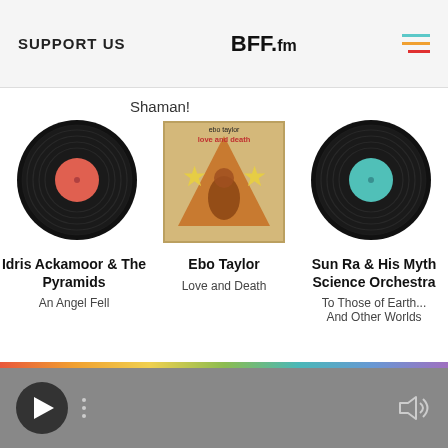SUPPORT US | BFF.fm
Shaman!
[Figure (illustration): Three vinyl record album covers in a row. Left: black vinyl with red/orange center label. Middle: Ebo Taylor 'Love and Death' album cover showing a man with stars and triangle design. Right: black vinyl with teal center label.]
Idris Ackamoor & The Pyramids

An Angel Fell
Ebo Taylor

Love and Death
Sun Ra & His Myth Science Orchestra

To Those of Earth...
And Other Worlds
[Figure (illustration): Three partial vinyl record discs visible at the bottom of the screen, partially cut off.]
[Figure (screenshot): Music player bar at bottom with play button, three dots menu, and volume icon. Gray blurred background.]